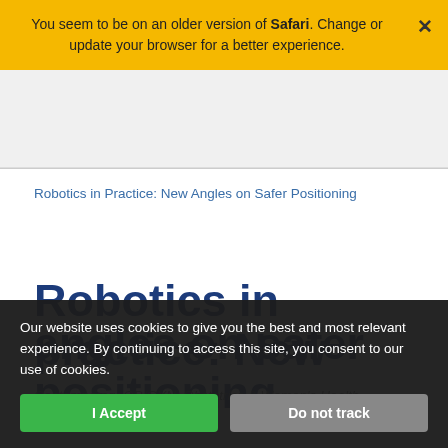You seem to be on an older version of Safari. Change or update your browser for a better experience.
Robotics in Practice: New Angles on Safer Positioning
Robotics in practice: New angles on safer positioning
Contemporary OB/GYN, Obstetrics & Women's Health
Our website uses cookies to give you the best and most relevant experience. By continuing to access this site, you consent to our use of cookies.